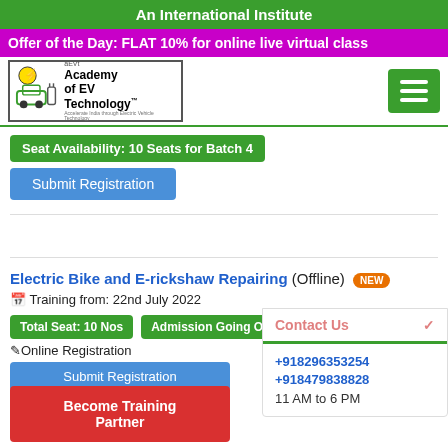An International Institute
Offer of the Day: FLAT 10% for online live virtual class
[Figure (logo): Academy of EV Technology logo with electric car and charging icons, TM mark]
Seat Availability: 10 Seats for Batch 4
Submit Registration
Electric Bike and E-rickshaw Repairing (Offline) NEW
Training from: 22nd July 2022
Total Seat: 10 Nos
Admission Going On
Online Registration
Submit Registration
Become Training Partner
Contact Us
+918296353254
+918479838828
11 AM to 6 PM